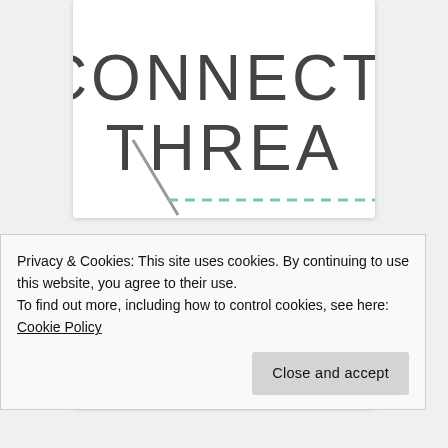[Figure (logo): Connecting Threads logo — large grey text 'CONNECTI' and 'THREA' with a needle and dashed line graphic]
[Figure (logo): Fat Quarter Shop logo — pink italic script text 'Fat Quarter' with blue origami/box graphic]
Privacy & Cookies: This site uses cookies. By continuing to use this website, you agree to their use.
To find out more, including how to control cookies, see here: Cookie Policy
Close and accept